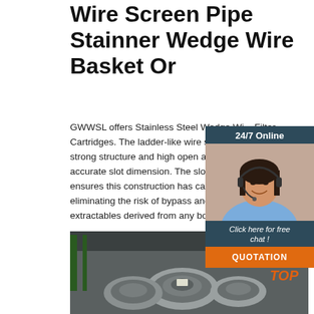Wire Screen Pipe Stainner Wedge Wire Basket Or
GWWSL offers Stainless Steel Wedge Wire Filter Cartridges. The ladder-like wire screens have strong structure and high open area, as well as accurate slot dimension. The slot wedge wire ensures this construction has cartridge integrity, eliminating the risk of bypass and the presence of extractables derived from any bonding agents.
[Figure (photo): Customer service representative with headset, used in 24/7 online chat widget overlay]
[Figure (photo): Industrial coils of wire in a warehouse/factory setting, stainless steel wire spools]